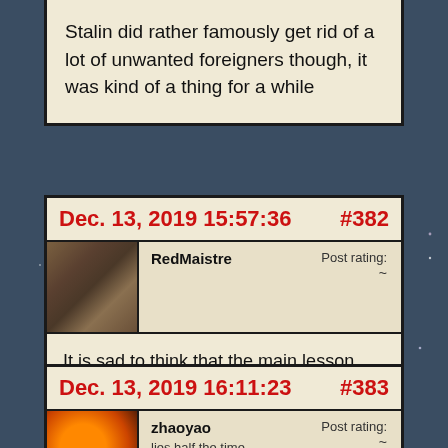Stalin did rather famously get rid of a lot of unwanted foreigners though, it was kind of a thing for a while
Dec. 13, 2019 15:57:36 #382
RedMaistre
Post rating:
~
It is sad to think that the main lesson that will be drawn is that mild social democracy is just too spicy for this sinful earth.
Dec. 13, 2019 16:11:23 #383
zhaoyao
lies half the time
Post rating:
~